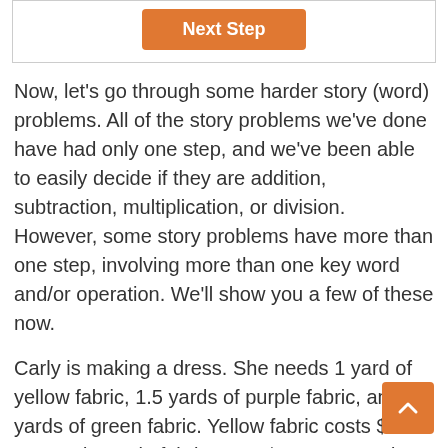[Figure (other): Orange 'Next Step' button inside a bordered box]
Now, let’s go through some harder story (word) problems. All of the story problems we’ve done have had only one step, and we’ve been able to easily decide if they are addition, subtraction, multiplication, or division. However, some story problems have more than one step, involving more than one key word and/or operation. We’ll show you a few of these now.
Carly is making a dress. She needs 1 yard of yellow fabric, 1.5 yards of purple fabric, and .5 yards of green fabric. Yellow fabric costs $5.95 per yard, purple fabric costs $3.95 per yard, and green fabric is on sale for $7.00 per yard. How